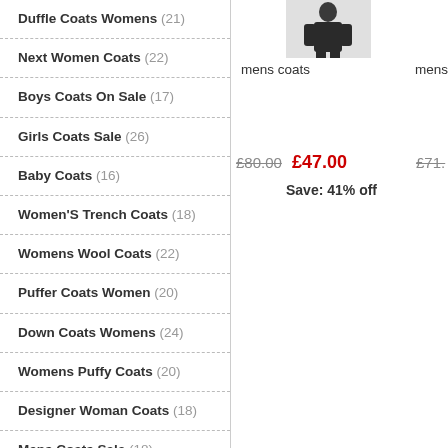Duffle Coats Womens (21)
Next Women Coats (22)
Boys Coats On Sale (17)
Girls Coats Sale (26)
Baby Coats (16)
Women'S Trench Coats (18)
Womens Wool Coats (22)
Puffer Coats Women (20)
Down Coats Womens (24)
Womens Puffy Coats (20)
Designer Woman Coats (18)
Mens Coats Sale (18)
Waterproof Coats (15)
Berghaus Coats (24)
Mens Pea Coats (16)
Coats Stone Island (13)
[Figure (photo): Man in dark suit/coat product thumbnail]
mens coats
mens
£80.00  £47.00  £71...
Save: 41% off